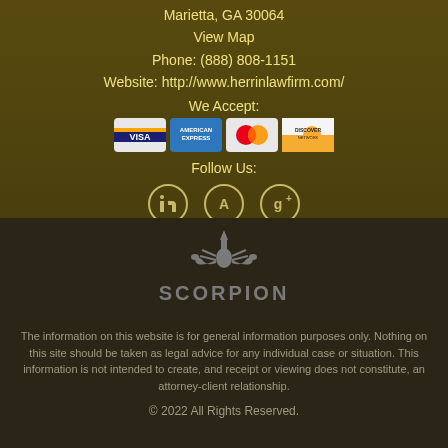Marietta, GA 30064
View Map
Phone: (888) 808-1151
Website: http://www.herrinlawfirm.com/
We Accept:
[Figure (other): Payment card logos: Visa, American Express, MasterCard, Discover]
Follow Us:
[Figure (other): Social media icons: LinkedIn, Avvo, Google+]
[Figure (logo): Scorpion logo with stylized scorpion icon above the word SCORPION]
The information on this website is for general information purposes only. Nothing on this site should be taken as legal advice for any individual case or situation. This information is not intended to create, and receipt or viewing does not constitute, an attorney-client relationship.
© 2022 All Rights Reserved.